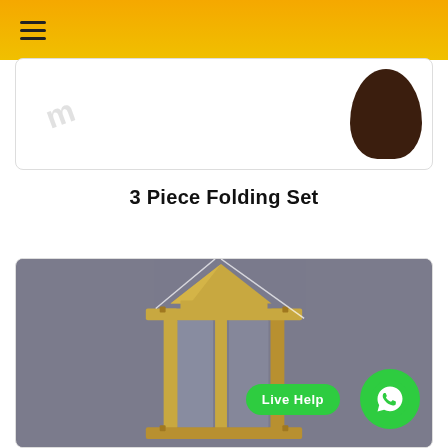≡
[Figure (photo): Partial product image with watermark text and a dark brown rounded cap/vase shape on the right side]
3 Piece Folding Set
[Figure (photo): Close-up photo of a brass/gold-colored folding lantern with glass panels and pyramid top, photographed against a grey background. A green Live Help button and WhatsApp icon are overlaid in the bottom right corner.]